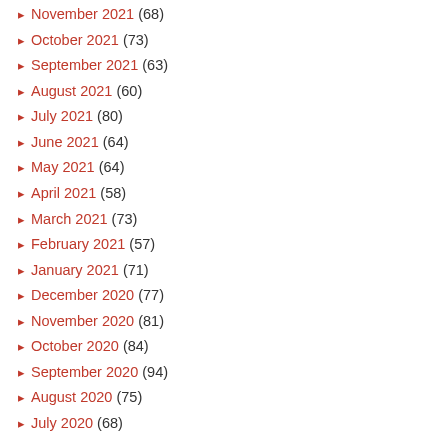November 2021 (68)
October 2021 (73)
September 2021 (63)
August 2021 (60)
July 2021 (80)
June 2021 (64)
May 2021 (64)
April 2021 (58)
March 2021 (73)
February 2021 (57)
January 2021 (71)
December 2020 (77)
November 2020 (81)
October 2020 (84)
September 2020 (94)
August 2020 (75)
July 2020 (68)